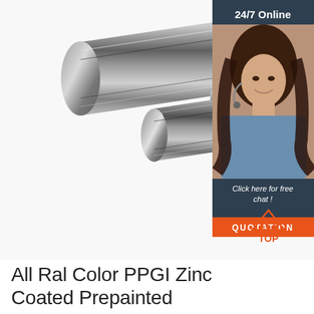[Figure (photo): Three chrome/polished steel round bars/rods of different diameters arranged diagonally across white background, with a side banner showing a customer service agent, '24/7 Online', 'Click here for free chat!', and a 'QUOTATION' button. A smaller rod and a 'TOP' badge with dots appear in the lower right.]
All Ral Color PPGI Zinc Coated Prepainted